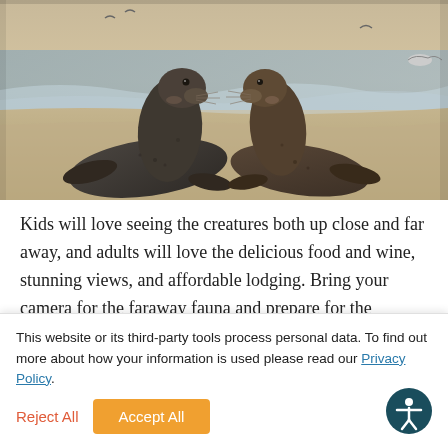[Figure (photo): Two elephant seals facing each other on a sandy beach, rearing up on their flippers. Ocean waves and seagulls visible in the background at golden hour.]
Kids will love seeing the creatures both up close and far away, and adults will love the delicious food and wine, stunning views, and affordable lodging. Bring your camera for the faraway fauna and prepare for the ultimate
This website or its third-party tools process personal data. To find out more about how your information is used please read our Privacy Policy.